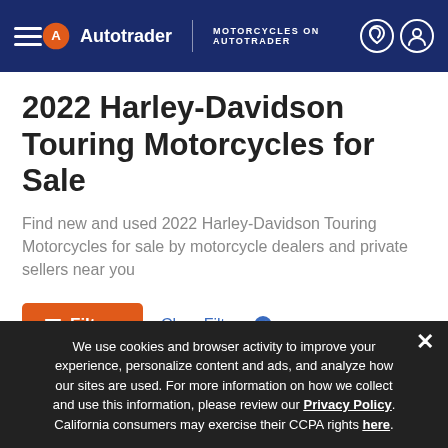Autotrader | MOTORCYCLES ON AUTOTRADER
2022 Harley-Davidson Touring Motorcycles for Sale
Find new and used 2022 Harley-Davidson Touring Motorcycles for sale by motorcycle dealers and private sellers near you
Filters  Clear Filters
Sort Results By   Show 25
We use cookies and browser activity to improve your experience, personalize content and ads, and analyze how our sites are used. For more information on how we collect and use this information, please review our Privacy Policy. California consumers may exercise their CCPA rights here.